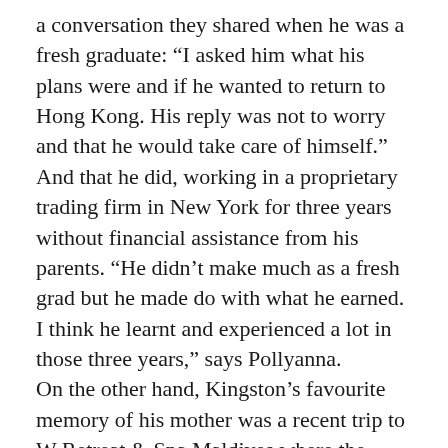a conversation they shared when he was a fresh graduate: “I asked him what his plans were and if he wanted to return to Hong Kong. His reply was not to worry and that he would take care of himself.” And that he did, working in a proprietary trading firm in New York for three years without financial assistance from his parents. “He didn’t make much as a fresh grad but he made do with what he earned. I think he learnt and experienced a lot in those three years,” says Pollyanna.
On the other hand, Kingston’s favourite memory of his mother was a recent trip to W Retreat & Spa Maldives where the family was able to truly relax and indulge in leisure activities. “I don’t know if she will admit to it, but my mother is a very enthusiastic snorkeller,” he shares. Sea sports lovers, the family occasionally sails together on the weekends, all But...